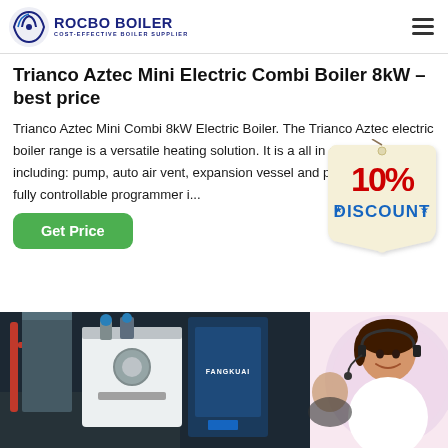ROCBO BOILER - COST-EFFECTIVE BOILER SUPPLIER
Trianco Aztec Mini Electric Combi Boiler 8kW – best price
Trianco Aztec Mini Combi 8kW Electric Boiler. The Trianco Aztec electric boiler range is a versatile heating solution. It is a all in one system, including: pump, auto air vent, expansion vessel and pressure gauge. A fully controllable programmer i...
[Figure (illustration): 10% DISCOUNT badge/sticker graphic in red and blue on a tan background]
[Figure (photo): Industrial boiler equipment (FANGKUAI branded) on the left, and a smiling female customer service representative wearing a headset on the right]